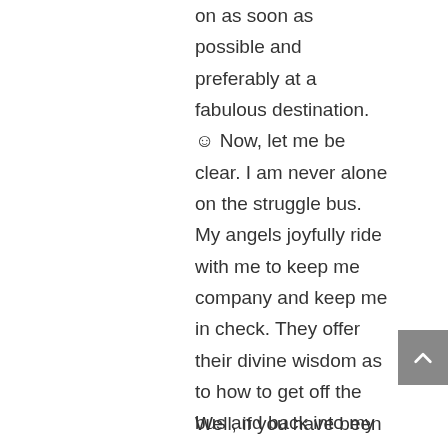on as soon as possible and preferably at a fabulous destination. ☺ Now, let me be clear. I am never alone on the struggle bus. My angels joyfully ride with me to keep me company and keep me in check. They offer their divine wisdom as to how to get off the bus and back into my high vibe groove and flow. But lately, I have spent way too much time on the struggle bus.  I was truly beginning to wonder if my bus had some type of unlimited gas supply or something. I mean, why have we not made any stops? And, although I would never hope for another person to struggle, why do I feel so alone on this bus?
Well, if you have been feeling the same